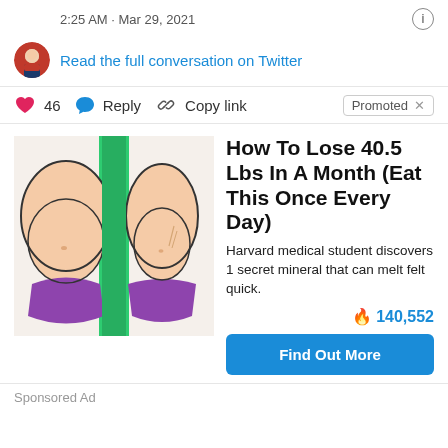2:25 AM · Mar 29, 2021
Read the full conversation on Twitter
46  Reply  Copy link  Promoted ×
[Figure (illustration): Side-by-side cartoon illustration of a female torso showing before and after weight loss, wearing purple underwear, with a green background between the two figures.]
How To Lose 40.5 Lbs In A Month (Eat This Once Every Day)
Harvard medical student discovers 1 secret mineral that can melt felt quick.
🔥 140,552
Find Out More
Sponsored Ad